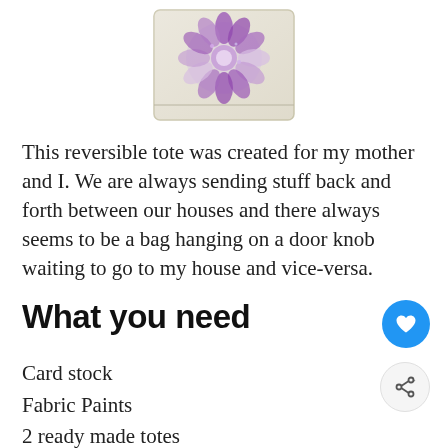[Figure (photo): A tote bag with an embroidered/painted flower design in purple and pink on a white/cream fabric, partially visible at the top of the page.]
This reversible tote was created for my mother and I. We are always sending stuff back and forth between our houses and there always seems to be a bag hanging on a door knob waiting to go to my house and vice-versa.
What you need
Card stock
Fabric Paints
2 ready made totes
Flat paint brush
Exacto Blade